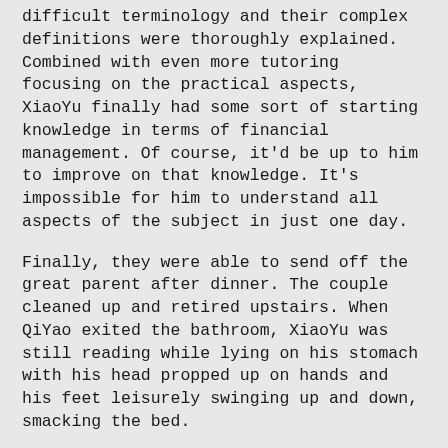difficult terminology and their complex definitions were thoroughly explained. Combined with even more tutoring focusing on the practical aspects, XiaoYu finally had some sort of starting knowledge in terms of financial management. Of course, it'd be up to him to improve on that knowledge. It's impossible for him to understand all aspects of the subject in just one day.
Finally, they were able to send off the great parent after dinner. The couple cleaned up and retired upstairs. When QiYao exited the bathroom, XiaoYu was still reading while lying on his stomach with his head propped up on hands and his feet leisurely swinging up and down, smacking the bed.
“Take a break. You’ve been reading since this afternoon,” QiYao said, plucking the book away. He set it down and pulled XiaoYu into his embrace.